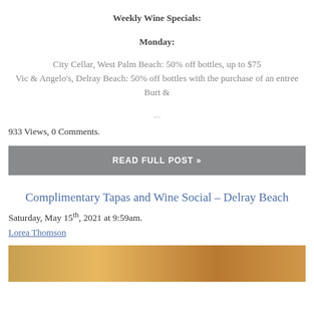Weekly Wine Specials:
Monday:
City Cellar, West Palm Beach: 50% off bottles, up to $75
Vic & Angelo's, Delray Beach: 50% off bottles with the purchase of an entree
Burt &
...
933 Views, 0 Comments.
READ FULL POST »
Complimentary Tapas and Wine Social – Delray Beach
Saturday, May 15th, 2021 at 9:59am.
Lorea Thomson
[Figure (photo): Partial photo strip showing food or wine items with warm amber/orange tones]